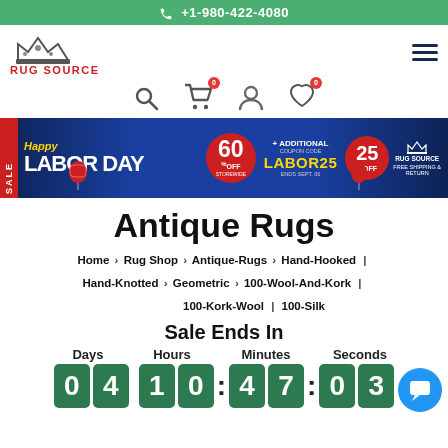+1-980-422-4080
[Figure (logo): Rug Source logo with crown icon and red text]
[Figure (infographic): Happy Labor Day Sale banner: 60% off storewide + additional 25% off coupon code LABOR25, ends Sept 06, free shipping and return]
Antique Rugs
Home > Rug Shop > Antique-Rugs > Hand-Hooked | Hand-Knotted > Geometric > 100-Wool-And-Kork | 100-Kork-Wool | 100-Silk
Sale Ends In
Days 04  Hours 10 : Minutes 47 : Seconds 03